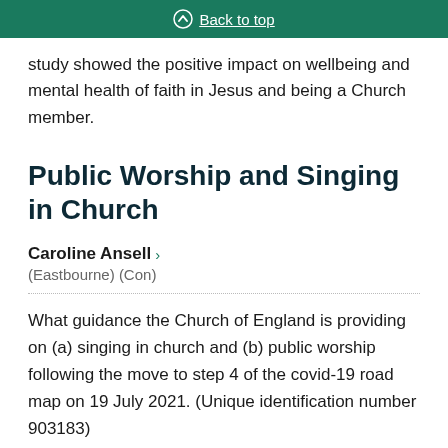Back to top
study showed the positive impact on wellbeing and mental health of faith in Jesus and being a Church member.
Public Worship and Singing in Church
Caroline Ansell ›
(Eastbourne) (Con)
What guidance the Church of England is providing on (a) singing in church and (b) public worship following the move to step 4 of the covid-19 road map on 19 July 2021. (Unique identification number 903183)